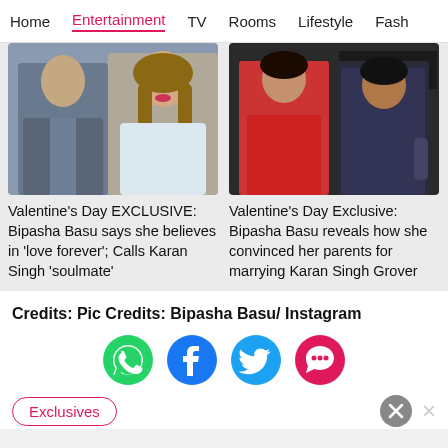Home | Entertainment | TV | Rooms | Lifestyle | Fash
[Figure (photo): Photo of a couple (man in grey suit and woman with long wavy hair) at an event]
[Figure (photo): Photo of a couple (woman in red dress and man in patterned shirt) at an event with AUATCH signage]
Valentine's Day EXCLUSIVE: Bipasha Basu says she believes in 'love forever'; Calls Karan Singh 'soulmate'
Valentine's Day Exclusive: Bipasha Basu reveals how she convinced her parents for marrying Karan Singh Grover
Credits: Pic Credits: Bipasha Basu/ Instagram
[Figure (infographic): Social sharing icons: WhatsApp (green), Facebook (blue), Twitter (cyan), chat/more (pink)]
Exclusives